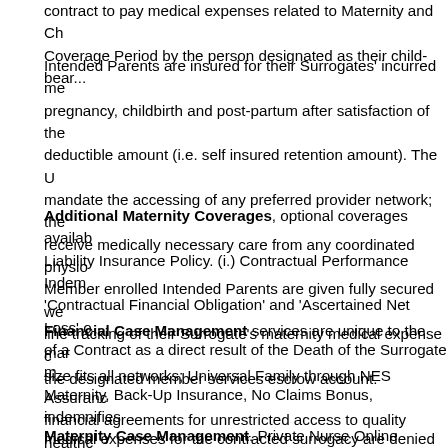contract to pay medical expenses related to Maternity and Ch... Coverage Period by the person designated as their child-bear...
Intended Parents are insured for their Surrogates' incurred me... pregnancy, childbirth and post-partum after satisfaction of the deductible amount (i.e. self insured retention amount). The U... mandate the accessing of any preferred provider network; the... receive medically necessary care from any coordinated physio... Member enrolled Intended Parents are given fully secured we... line tracking of their Surrogate's maternity medical expense c... the designated member services escrow account.
Additional Maternity Coverages, optional coverages availab... Liability Insurance Policy. (i.) Contractual Performance Indem... 'Contractual Financial Obligation' and 'Ascertained Net Loss' ... of a Contract as a direct result of the Death of the Surrogate m... Maternity, Back-Up Insurance, No Claims Bonus, indemnifies... medical expenses for the contracted surrogacy are denied by...
Financial Case Management services are unique to the mar... size fits all networks; Universal Family through NES Assuranc... financial agreements for unrestricted access to quality healthc... their Surrogate's maternity medical services as well as the pro... provider medical costs. Our members have the ability to make...
Maternity Case Management. Private Nurse Online provides...